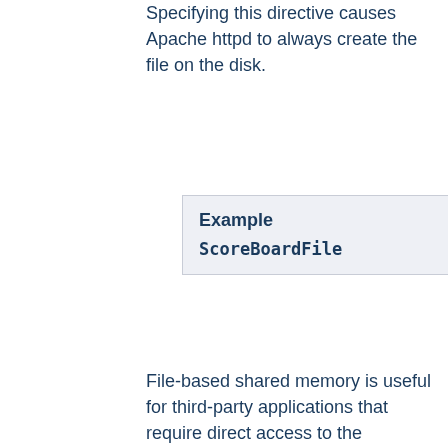Specifying this directive causes Apache httpd to always create the file on the disk.
Example
ScoreBoardFile
File-based shared memory is useful for third-party applications that require direct access to the scoreboard.
If you use a ScoreBoardFile then you may see improved speed by placing it on a RAM disk. But be careful that you heed the same warnings about log file placement and security.
See also